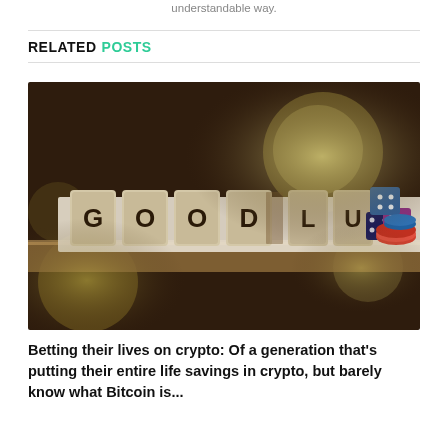understandable way.
RELATED POSTS
[Figure (photo): Photo of wooden letter tiles spelling 'GOOD LUCK' on a shelf with stacked colorful dice beside them, on a blurred dark brown and yellow bokeh background.]
Betting their lives on crypto: Of a generation that's putting their entire life savings in crypto, but barely know what Bitcoin is...